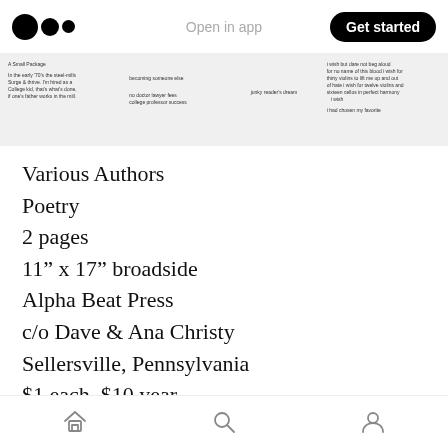Open in app | Get started
[Figure (screenshot): Preview strip showing partial text of a poetry broadside with multiple columns of poem text]
Various Authors
Poetry
2 pages
11” x 17” broadside
Alpha Beat Press
c/o Dave & Ana Christy
Sellersville, Pennsylvania
$1 each, $10 year
Review originally published on 7/2/09
Home | Search | Profile